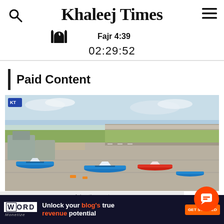Khaleej Times
Fajr 4:39
02:29:52
Paid Content
[Figure (photo): Aerial view of an airport with multiple aircraft parked on tarmac, runways visible, surrounding greenery and airport buildings.]
Advertisement
[Figure (infographic): WordMonetize advertisement banner: 'Unlock your blog's true revenue potential' with GET STARTED button on dark navy background.]